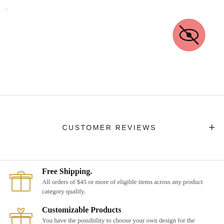[Figure (illustration): Pink/red circle with a crossed-out eye icon (hidden/privacy icon) in the top right corner]
CUSTOMER REVIEWS
Free Shipping. All orders of $45 or more of eligible items across any product category qualify.
Customizable Products You have the possibility to choose your own design for the products! All you have to do is to provide us the design!
High Quality Our products are made with love for your furry friend and contains high quality!